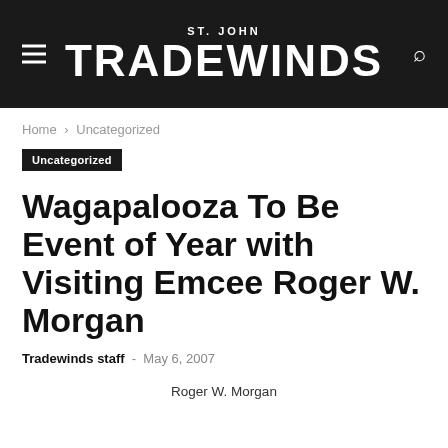ST. JOHN TRADEWINDS
Home › Uncategorized
Uncategorized
Wagapalooza To Be Event of Year with Visiting Emcee Roger W. Morgan
Tradewinds staff - May 6, 2007
Roger W. Morgan